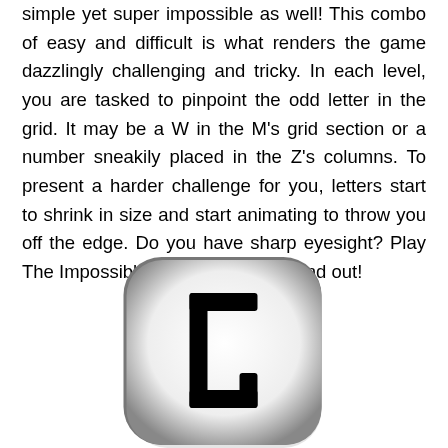simple yet super impossible as well! This combo of easy and difficult is what renders the game dazzlingly challenging and tricky. In each level, you are tasked to pinpoint the odd letter in the grid. It may be a W in the M's grid section or a number sneakily placed in the Z's columns. To present a harder challenge for you, letters start to shrink in size and start animating to throw you off the edge. Do you have sharp eyesight? Play The Impossible Letter Game and find out!
[Figure (illustration): A rounded square button/tile with a gradient from dark gray edges to white center, containing a bold letter 'L' (with serifs on top horizontal bar and bottom-right corner serif detail) in black.]